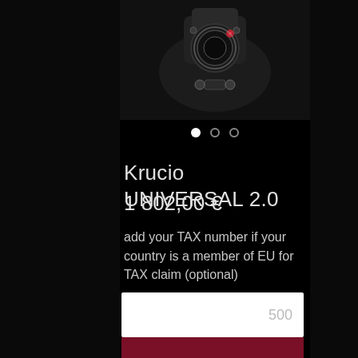[Figure (photo): Product photo of Krucio UNIVERSAL 2.0 mechanical device on dark background, showing metallic components with a red accent.]
Krucio UNIVERSAL 2.0
1 802,00 €
add your TAX number if your country is a member of EU for TAX claim (optional)
500